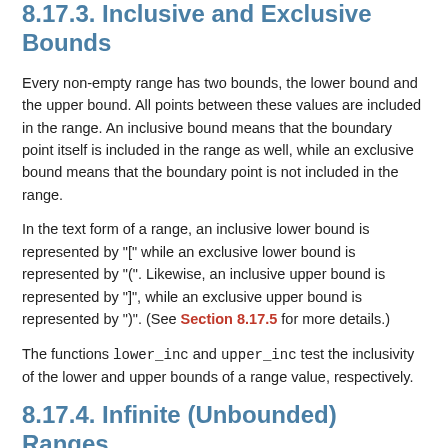8.17.3. Inclusive and Exclusive Bounds
Every non-empty range has two bounds, the lower bound and the upper bound. All points between these values are included in the range. An inclusive bound means that the boundary point itself is included in the range as well, while an exclusive bound means that the boundary point is not included in the range.
In the text form of a range, an inclusive lower bound is represented by "[" while an exclusive lower bound is represented by "(". Likewise, an inclusive upper bound is represented by "]", while an exclusive upper bound is represented by ")". (See Section 8.17.5 for more details.)
The functions lower_inc and upper_inc test the inclusivity of the lower and upper bounds of a range value, respectively.
8.17.4. Infinite (Unbounded) Ranges